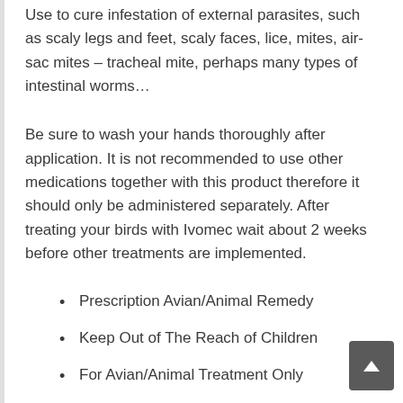Use to cure infestation of external parasites, such as scaly legs and feet, scaly faces, lice, mites, air-sac mites – tracheal mite, perhaps many types of intestinal worms…
Be sure to wash your hands thoroughly after application. It is not recommended to use other medications together with this product therefore it should only be administered separately. After treating your birds with Ivomec wait about 2 weeks before other treatments are implemented.
Prescription Avian/Animal Remedy
Keep Out of The Reach of Children
For Avian/Animal Treatment Only